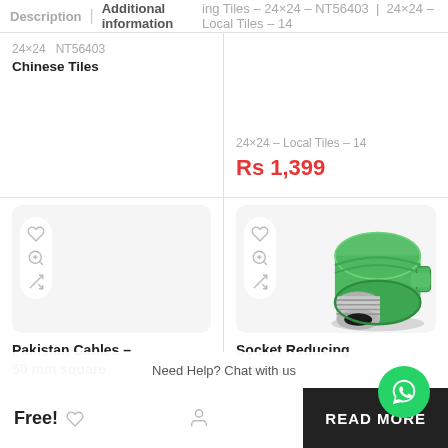Description | Additional information | ing Tiles – 24×24 – NT56403 | 24×24 – Local Tiles – 14
24×24 – NT56403 Chinese Tiles
24×24 – Local Tiles – 14
Rs 1,399
[Figure (photo): Empty product placeholder image for Pakistan Cables – 50 mm square]
Pakistan Cables – 50 mm square
[Figure (photo): Green PPR pipe socket reducing fitting with metal threaded end]
Socket Reducing ... tar
Need Help? Chat with us
Free!
READ MORE